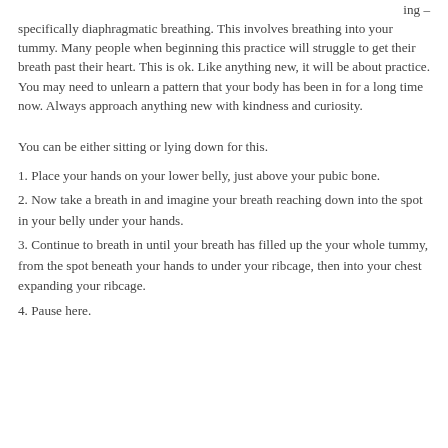ing – specifically diaphragmatic breathing. This involves breathing into your tummy. Many people when beginning this practice will struggle to get their breath past their heart. This is ok. Like anything new, it will be about practice. You may need to unlearn a pattern that your body has been in for a long time now. Always approach anything new with kindness and curiosity.
You can be either sitting or lying down for this.
1. Place your hands on your lower belly, just above your pubic bone.
2. Now take a breath in and imagine your breath reaching down into the spot in your belly under your hands.
3. Continue to breath in until your breath has filled up the your whole tummy, from the spot beneath your hands to under your ribcage, then into your chest expanding your ribcage.
4. Pause here.